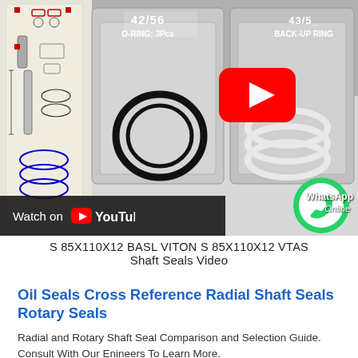[Figure (screenshot): YouTube video thumbnail showing o-ring and back-up ring seal parts in bags alongside a technical schematic drawing. A YouTube play button is visible on the video along with a WhatsApp contact icon overlay. Text on packaging reads '42/56 O-RING; 3Pcs' and '43/5_ BACK-UP RING'. A 'Watch on YouTube' bar appears at the bottom left of the video image.]
S 85X110X12 BASL VITON S 85X110X12 VTAS Shaft Seals Video
Oil Seals Cross Reference Radial Shaft Seals Rotary Seals
Radial and Rotary Shaft Seal Comparison and Selection Guide. Consult With Our Enineers To Learn More.